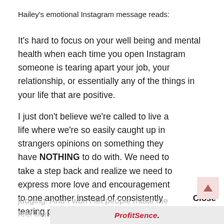Hailey's emotional Instagram message reads:
It's hard to focus on your well being and mental health when each time you open Instagram someone is tearing apart your job, your relationship, or essentially any of the things in your life that are positive.
I just don't believe we're called to live a life where we're so easily caught up in strangers opinions on something they have NOTHING to do with. We need to take a step back and realize we need to express more love and encouragement to one another instead of consistently tearing people down and
judging. And I won't let people make me feel like I'm doing something wrong by enjoying my life and being happy.
Close
ProfitSence.